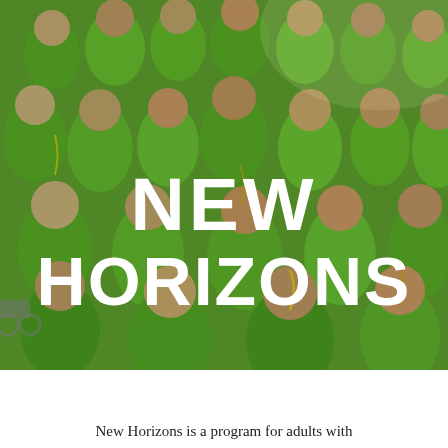[Figure (photo): Group photo of adults wearing bright green t-shirts and colorful bead necklaces, smiling and posing together outdoors. Many participants appear to have developmental disabilities. The text 'NEW HORIZONS' is overlaid in large white bold letters across the center of the image.]
NEW HORIZONS
New Horizons is a program for adults with